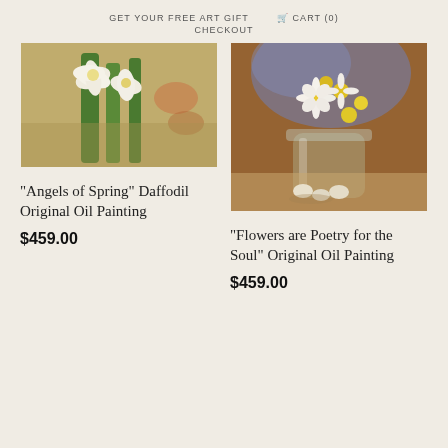GET YOUR FREE ART GIFT   🛒 CART (0)
CHECKOUT
[Figure (photo): Oil painting of white daffodil flowers with green stems against a warm background]
"Angels of Spring" Daffodil Original Oil Painting
$459.00
[Figure (photo): Oil painting of white and yellow daisies in a glass jar with eggs on a table]
"Flowers are Poetry for the Soul" Original Oil Painting
$459.00